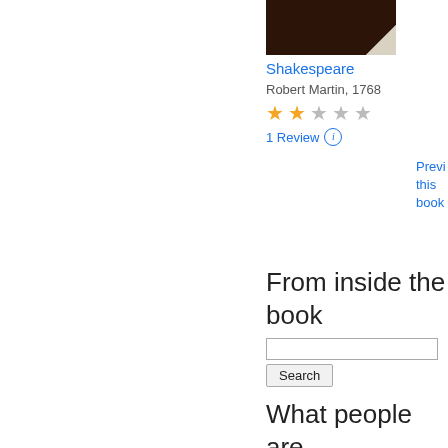[Figure (photo): Book cover image with dark brown background and page curl effect in bottom right corner]
Shakespeare
Robert Martin, 1768
[Figure (other): Star rating: 2 filled stars and 3 empty stars]
1 Review
Preview this book
From inside the book
Search
What people are saying - Write a